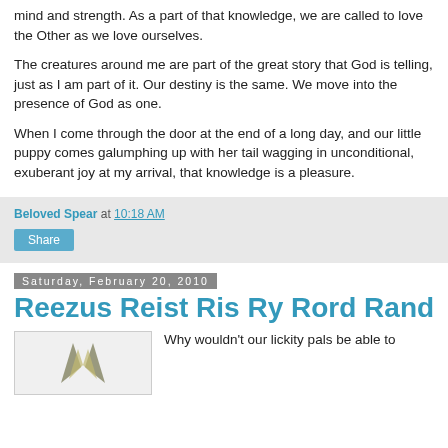mind and strength. As a part of that knowledge, we are called to love the Other as we love ourselves.
The creatures around me are part of the great story that God is telling, just as I am part of it. Our destiny is the same. We move into the presence of God as one.
When I come through the door at the end of a long day, and our little puppy comes galumphing up with her tail wagging in unconditional, exuberant joy at my arrival, that knowledge is a pleasure.
Beloved Spear at 10:18 AM
Share
Saturday, February 20, 2010
Reezus Reist Ris Ry Rord Rand Ravior
Why wouldn't our lickity pals be able to